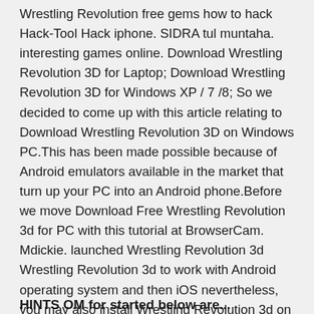Wrestling Revolution free gems how to hack Hack-Tool Hack iphone. SIDRA tul muntaha. interesting games online. Download Wrestling Revolution 3D for Laptop; Download Wrestling Revolution 3D for Windows XP / 7 /8; So we decided to come up with this article relating to Download Wrestling Revolution 3D on Windows PC.This has been made possible because of Android emulators available in the market that turn up your PC into an Android phone.Before we move Download Free Wrestling Revolution 3d for PC with this tutorial at BrowserCam. Mdickie. launched Wrestling Revolution 3d Wrestling Revolution 3d to work with Android operating system and then iOS nevertheless, you may also install Wrestling Revolution 3d on PC or MAC. There exist's few major steps listed below that you should implement before starting to download Wrestling Revolution 3d PC.
HINTS OM for started below are...